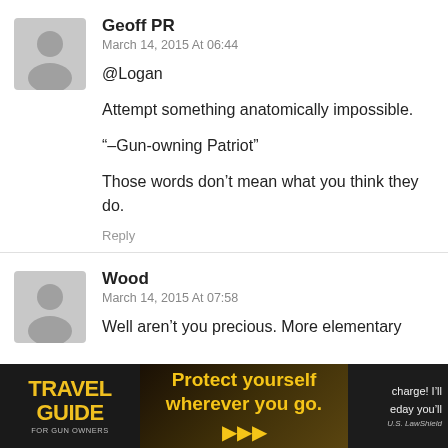Geoff PR
March 14, 2015 At 06:44
@Logan

Attempt something anatomically impossible.

“–Gun-owning Patriot”

Those words don’t mean what you think they do.
Reply
Wood
March 14, 2015 At 07:58
Well aren’t you precious. More elementary ... charge! I’ll ... eday you’ll
[Figure (infographic): Travel Guide for Gun Owners advertisement banner with text 'Protect yourself wherever you go.' and U.S. LawShield logo]